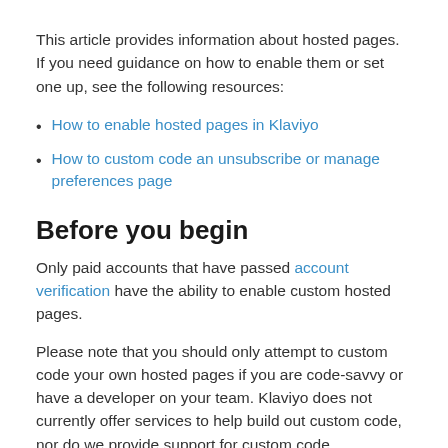This article provides information about hosted pages. If you need guidance on how to enable them or set one up, see the following resources:
How to enable hosted pages in Klaviyo
How to custom code an unsubscribe or manage preferences page
Before you begin
Only paid accounts that have passed account verification have the ability to enable custom hosted pages.
Please note that you should only attempt to custom code your own hosted pages if you are code-savvy or have a developer on your team. Klaviyo does not currently offer services to help build out custom code, nor do we provide support for custom code troubleshooting.